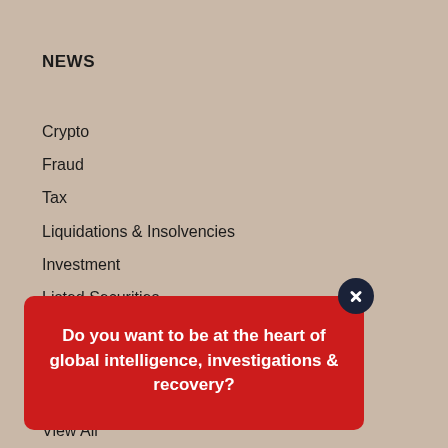NEWS
Crypto
Fraud
Tax
Liquidations & Insolvencies
Investment
Listed Securities
Money Laundering
Bribery & Corruption
Government & Politicians
View All
Do you want to be at the heart of global intelligence, investigations & recovery?